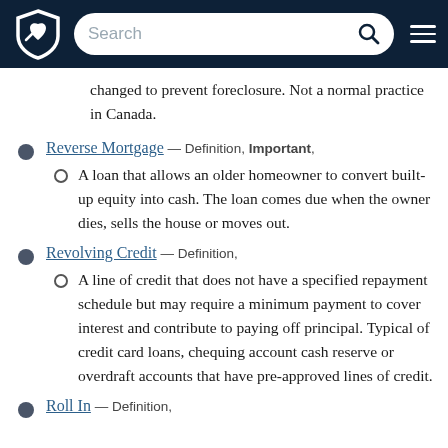Search
changed to prevent foreclosure. Not a normal practice in Canada.
Reverse Mortgage — Definition, Important,
A loan that allows an older homeowner to convert built-up equity into cash. The loan comes due when the owner dies, sells the house or moves out.
Revolving Credit — Definition,
A line of credit that does not have a specified repayment schedule but may require a minimum payment to cover interest and contribute to paying off principal. Typical of credit card loans, chequing account cash reserve or overdraft accounts that have pre-approved lines of credit.
Roll In — Definition,